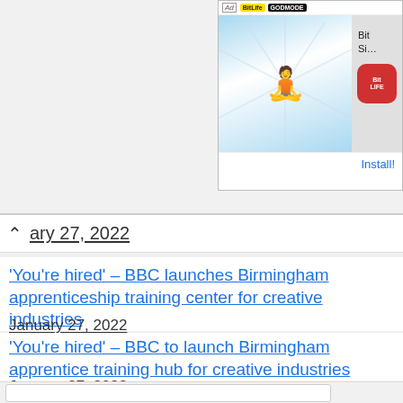[Figure (screenshot): Advertisement banner for BitLife app with cartoon character and install button]
ary 27, 2022
'You’re hired' – BBC launches Birmingham apprenticeship training center for creative industries
January 27, 2022
'You’re hired' – BBC to launch Birmingham apprentice training hub for creative industries
January 27, 2022